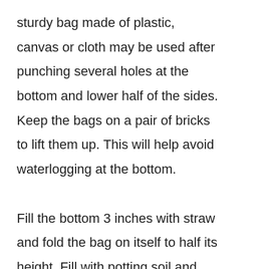sturdy bag made of plastic, canvas or cloth may be used after punching several holes at the bottom and lower half of the sides. Keep the bags on a pair of bricks to lift them up. This will help avoid waterlogging at the bottom.

Fill the bottom 3 inches with straw and fold the bag on itself to half its height. Fill with potting soil and compost up to 2 inches from the top. Insert 2-3 seed potatoes into the mix if the bag is large sized. Otherwise, use just one per bag. Feed weekly with potato fertiliser and water before the soil dries.